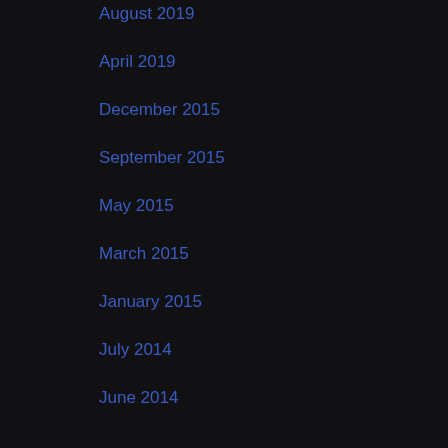August 2019
April 2019
December 2015
September 2015
May 2015
March 2015
January 2015
July 2014
June 2014
May 2014
Categories
Uncategorized (35)
WordPress
Log in